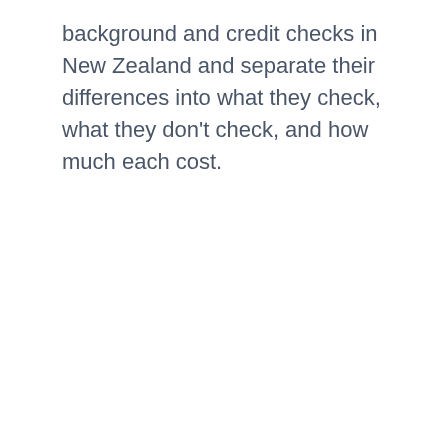background and credit checks in New Zealand and separate their differences into what they check, what they don't check, and how much each cost.